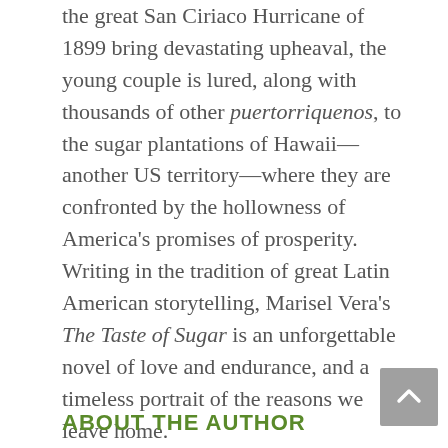the great San Ciriaco Hurricane of 1899 bring devastating upheaval, the young couple is lured, along with thousands of other puertorriquenos, to the sugar plantations of Hawaii—another US territory—where they are confronted by the hollowness of America's promises of prosperity. Writing in the tradition of great Latin American storytelling, Marisel Vera's The Taste of Sugar is an unforgettable novel of love and endurance, and a timeless portrait of the reasons we leave home.
ABOUT THE AUTHOR